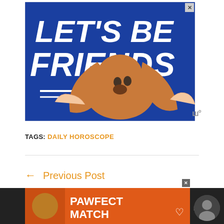[Figure (illustration): Advertisement banner with blue background showing a basset hound dog with ears being held out wide by human hands. Large white bold text reads LET'S BE FRIENDS with decorative white lines. Close button X in top right corner.]
TAGS: DAILY HOROSCOPE
[Figure (illustration): Bottom advertisement banner on dark background showing a cat and text PAWFECT MATCH on orange background with heart icon and close X button. Moat logo visible on right side with a circular user icon.]